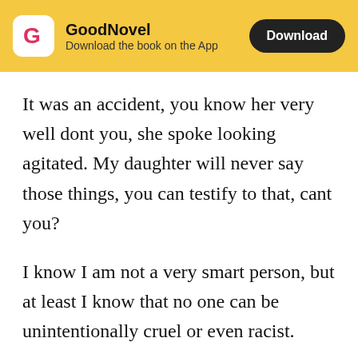GoodNovel – Download the book on the App – Download
It was an accident, you know her very well dont you, she spoke looking agitated. My daughter will never say those things, you can testify to that, cant you?
I know I am not a very smart person, but at least I know that no one can be unintentionally cruel or even racist.
Dont say that, my daughter is not racist. I raised her. Tears sprang down her face in large quantities. she is so dejected right now, she is beside herself,